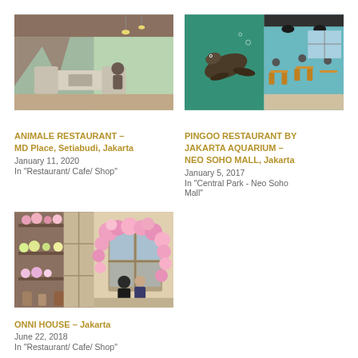[Figure (photo): Interior of Animale Restaurant with stone walls, white sofas, and large windows with greenery]
ANIMALE RESTAURANT – MD Place, Setiabudi, Jakarta
January 11, 2020
In "Restaurant/ Cafe/ Shop"
[Figure (photo): Two-panel image: left shows a sea lion underwater, right shows a restaurant interior with yellow chairs and tables]
PINGOO RESTAURANT BY JAKARTA AQUARIUM – NEO SOHO MALL, Jakarta
January 5, 2017
In "Central Park - Neo Soho Mall"
[Figure (photo): Two-panel image: left shows a flower shop wall display, right shows a couple sitting in front of a floral window decoration]
ONNI HOUSE – Jakarta
June 22, 2018
In "Restaurant/ Cafe/ Shop"